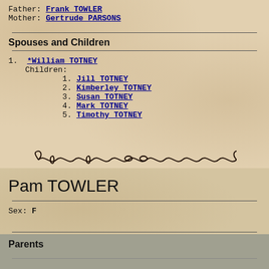Father: Frank TOWLER
Mother: Gertrude PARSONS
Spouses and Children
1. *William TOTNEY
  Children:
    1. Jill TOTNEY
    2. Kimberley TOTNEY
    3. Susan TOTNEY
    4. Mark TOTNEY
    5. Timothy TOTNEY
[Figure (illustration): Decorative ornamental divider with scrollwork and flourishes]
Pam TOWLER
Sex: F
Parents